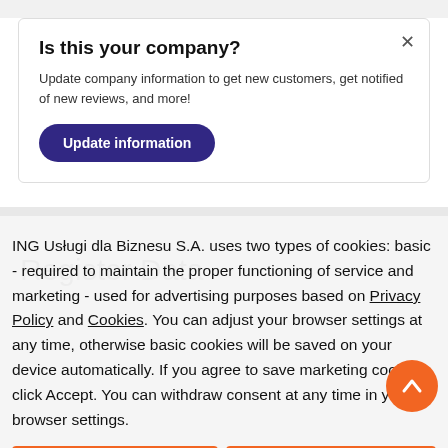Is this your company?
Update company information to get new customers, get notified of new reviews, and more!
Update information
Register Data
ING Usługi dla Biznesu S.A. uses two types of cookies: basic - required to maintain the proper functioning of service and marketing - used for advertising purposes based on Privacy Policy and Cookies. You can adjust your browser settings at any time, otherwise basic cookies will be saved on your device automatically. If you agree to save marketing cookies, click Accept. You can withdraw consent at any time in your browser settings.
Accept
Close